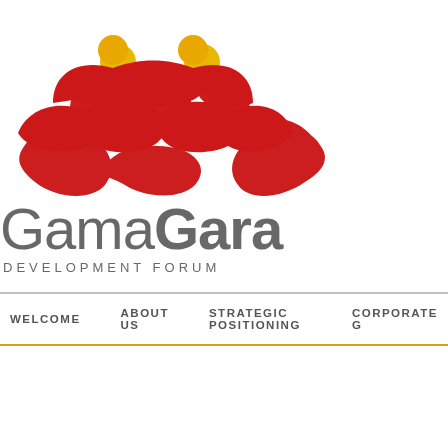[Figure (logo): GamaGara Development Forum logo with two stylized red figures and yellow circles above them]
WELCOME   ABOUT US   STRATEGIC POSITIONING   CORPORATE G